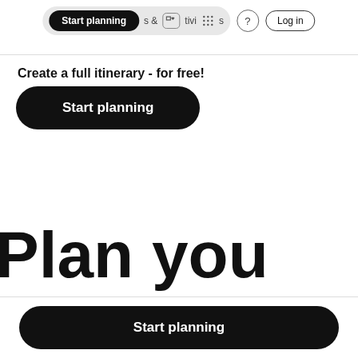Start planning | s & Activities | ? | Log in
Create a full itinerary - for free!
Start planning
Plan you
Start planning